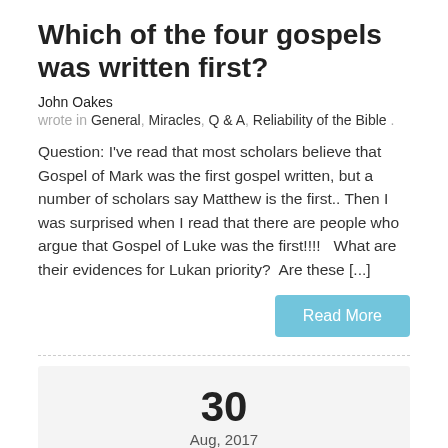Which of the four gospels was written first?
John Oakes
wrote in General, Miracles, Q & A, Reliability of the Bible .
Question: I've read that most scholars believe that Gospel of Mark was the first gospel written, but a number of scholars say Matthew is the first.. Then I was surprised when I read that there are people who argue that Gospel of Luke was the first!!!!   What are their evidences for Lukan priority?  Are these [...]
Read More
30
Aug, 2017
Could it be that someplace in...